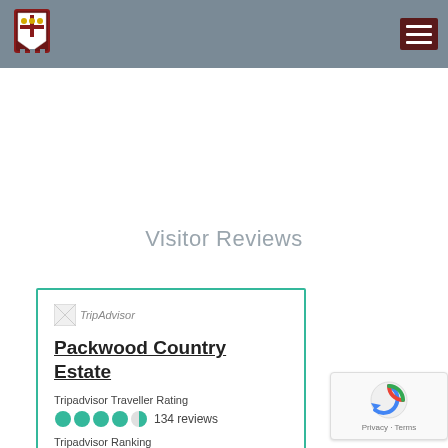Packwood Country Estate - site header with logo and navigation
Visitor Reviews
[Figure (screenshot): TripAdvisor widget card showing Packwood Country Estate with Traveller Rating of 4.5 circles and 134 reviews, plus Tripadvisor Ranking #]
[Figure (other): reCAPTCHA badge with Privacy and Terms links]